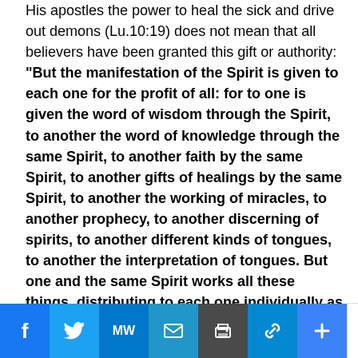His apostles the power to heal the sick and drive out demons (Lu.10:19) does not mean that all believers have been granted this gift or authority: "But the manifestation of the Spirit is given to each one for the profit of all: for to one is given the word of wisdom through the Spirit, to another the word of knowledge through the same Spirit, to another faith by the same Spirit, to another gifts of healings by the same Spirit, to another the working of miracles, to another prophecy, to another discerning of spirits, to another different kinds of tongues, to another the interpretation of tongues. But one and the same Spirit works all these things, distributing to each one individually as He wills." (1Co.12:7-11). Yes, miracles are